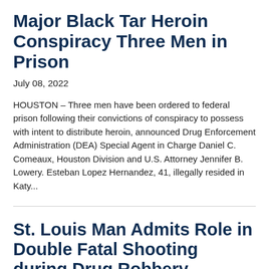Major Black Tar Heroin Conspiracy Three Men in Prison
July 08, 2022
HOUSTON – Three men have been ordered to federal prison following their convictions of conspiracy to possess with intent to distribute heroin, announced Drug Enforcement Administration (DEA) Special Agent in Charge Daniel C. Comeaux, Houston Division and U.S. Attorney Jennifer B. Lowery. Esteban Lopez Hernandez, 41, illegally resided in Katy...
St. Louis Man Admits Role in Double Fatal Shooting during Drug Robbery